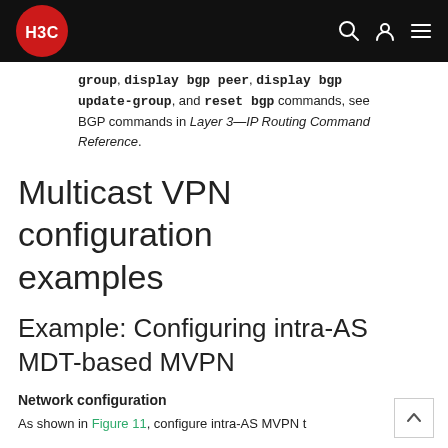H3C navigation bar with logo and icons
group, display bgp peer, display bgp update-group, and reset bgp commands, see BGP commands in Layer 3—IP Routing Command Reference.
Multicast VPN configuration examples
Example: Configuring intra-AS MDT-based MVPN
Network configuration
As shown in Figure 11, configure intra-AS MVPN t